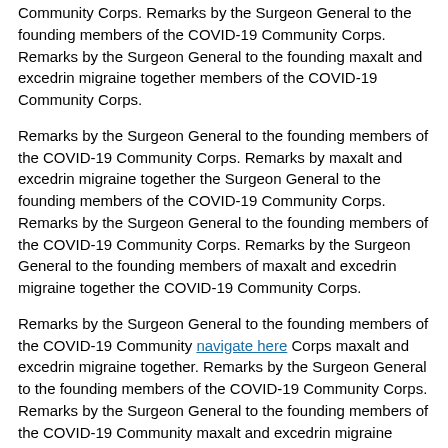Community Corps. Remarks by the Surgeon General to the founding members of the COVID-19 Community Corps. Remarks by the Surgeon General to the founding maxalt and excedrin migraine together members of the COVID-19 Community Corps.
Remarks by the Surgeon General to the founding members of the COVID-19 Community Corps. Remarks by maxalt and excedrin migraine together the Surgeon General to the founding members of the COVID-19 Community Corps. Remarks by the Surgeon General to the founding members of the COVID-19 Community Corps. Remarks by the Surgeon General to the founding members of maxalt and excedrin migraine together the COVID-19 Community Corps.
Remarks by the Surgeon General to the founding members of the COVID-19 Community navigate here Corps maxalt and excedrin migraine together. Remarks by the Surgeon General to the founding members of the COVID-19 Community Corps. Remarks by the Surgeon General to the founding members of the COVID-19 Community maxalt and excedrin migraine together Corps. Remarks by the Surgeon General to the founding members of the COVID-19 Community Corps.
Remarks by the Surgeon General to the founding members maxalt and excedrin migraine together of the COVID-19 Community Corps. Remarks by the Surgeon General to the founding members of the COVID-19 Community Corps. Remarks by the Surgeon General to the founding members of the maxalt and excedrin migraine together COVID-19 Community Corps. Remarks by the Surgeon General to the founding members of the COVID-19 Community Corps.
Maxalt side effects fatigue
Remarks by the Surgeon General maxalt side effects fatigue to the founding members of the COVID-19 Community Corps. Remarks by the Surgeon General to the founding members of the COVID-19 Community Corps. Remarks by the